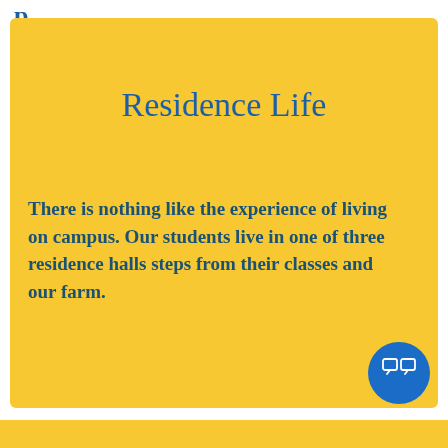p
Residence Life
There is nothing like the experience of living on campus. Our students live in one of three residence halls steps from their classes and our farm.
[Figure (other): Blue circular chat/feedback button icon with speech bubble symbol]